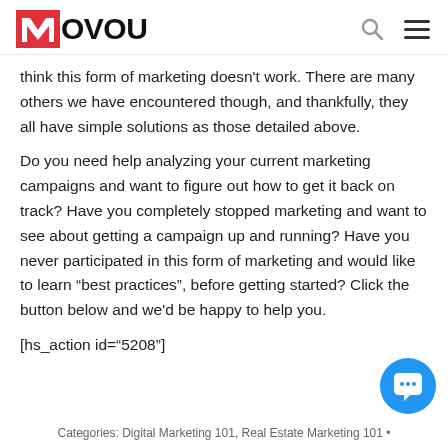movou
think this form of marketing doesn't work. There are many others we have encountered though, and thankfully, they all have simple solutions as those detailed above.
Do you need help analyzing your current marketing campaigns and want to figure out how to get it back on track? Have you completely stopped marketing and want to see about getting a campaign up and running? Have you never participated in this form of marketing and would like to learn “best practices”, before getting started? Click the button below and we’d be happy to help you.
[hs_action id=“5208”]
Categories: Digital Marketing 101, Real Estate Marketing 101 •